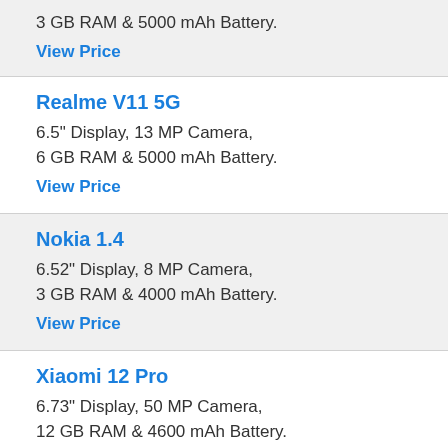3 GB RAM & 5000 mAh Battery.
View Price
Realme V11 5G
6.5" Display, 13 MP Camera, 6 GB RAM & 5000 mAh Battery.
View Price
Nokia 1.4
6.52" Display, 8 MP Camera, 3 GB RAM & 4000 mAh Battery.
View Price
Xiaomi 12 Pro
6.73" Display, 50 MP Camera, 12 GB RAM & 4600 mAh Battery.
View Price
Xiaomi 12